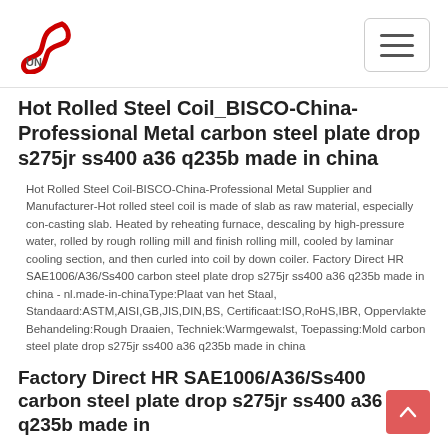Hot Rolled Steel Coil_BISCO-China-Professional Metal carbon steel plate drop s275jr ss400 a36 q235b made in china
Hot Rolled Steel Coil-BISCO-China-Professional Metal Supplier and Manufacturer-Hot rolled steel coil is made of slab as raw material, especially con-casting slab. Heated by reheating furnace, descaling by high-pressure water, rolled by rough rolling mill and finish rolling mill, cooled by laminar cooling section, and then curled into coil by down coiler. Factory Direct HR SAE1006/A36/Ss400 carbon steel plate drop s275jr ss400 a36 q235b made in china - nl.made-in-chinaType:Plaat van het Staal, Standaard:ASTM,AISI,GB,JIS,DIN,BS, Certificaat:ISO,RoHS,IBR, Oppervlakte Behandeling:Rough Draaien, Techniek:Warmgewalst, Toepassing:Mold carbon steel plate drop s275jr ss400 a36 q235b made in china
Factory Direct HR SAE1006/A36/Ss400 carbon steel plate drop s275jr ss400 a36 q235b made in